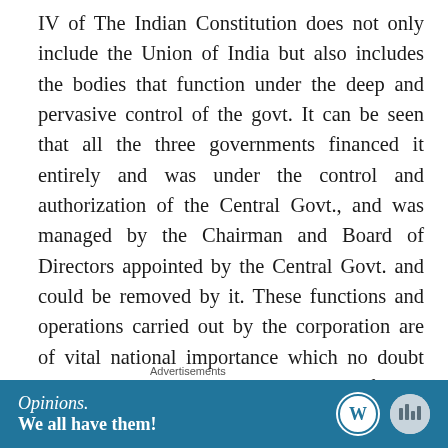IV of The Indian Constitution does not only include the Union of India but also includes the bodies that function under the deep and pervasive control of the govt. It can be seen that all the three governments financed it entirely and was under the control and authorization of the Central Govt., and was managed by the Chairman and Board of Directors appointed by the Central Govt. and could be removed by it. These functions and operations carried out by the corporation are of vital national importance which no doubt proves that the corporation is a body of govt. under the public sector, defined as State under Article 12 of the Constitution of India.
Advertisements
[Figure (other): Advertisement banner for WordPress/Opinions with text 'Opinions. We all have them!' on a blue background with WordPress logo and a circular logo on the right.]